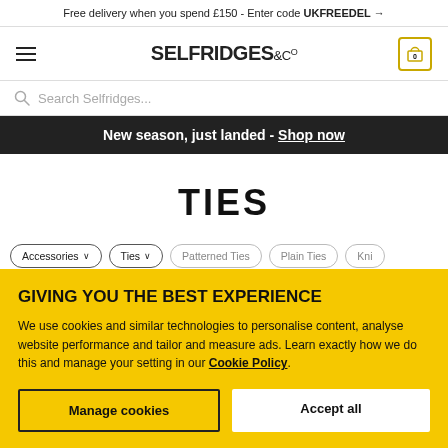Free delivery when you spend £150 - Enter code UKFREEDEL →
[Figure (screenshot): Selfridges & Co logo navigation bar with hamburger menu and cart icon showing 0 items]
Search Selfridges...
New season, just landed - Shop now
TIES
Accessories ∨  Ties ∨  Patterned Ties  Plain Ties  Kni...
GIVING YOU THE BEST EXPERIENCE
We use cookies and similar technologies to personalise content, analyse website performance and tailor and measure ads. Learn exactly how we do this and manage your setting in our Cookie Policy.
Manage cookies
Accept all